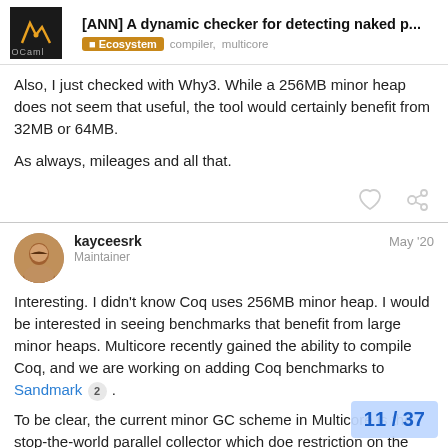[ANN] A dynamic checker for detecting naked p... | Ecosystem | compiler, multicore
Also, I just checked with Why3. While a 256MB minor heap does not seem that useful, the tool would certainly benefit from 32MB or 64MB.

As always, mileages and all that.
kayceesrk  May '20
Maintainer
Interesting. I didn't know Coq uses 256MB minor heap. I would be interested in seeing benchmarks that benefit from large minor heaps. Multicore recently gained the ability to compile Coq, and we are working on adding Coq benchmarks to Sandmark 2 .
To be clear, the current minor GC scheme in Multicore is the stop-the-world parallel collector which doe restriction on the minor heap. So large min